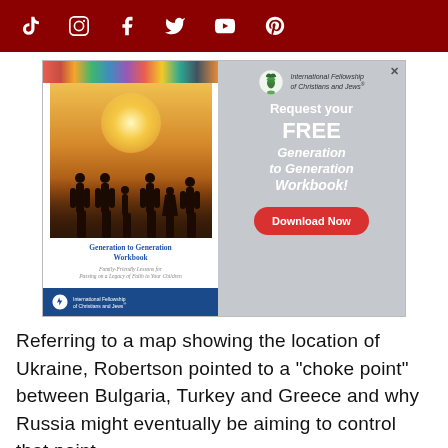Social media icons: TikTok, Instagram, Facebook, Twitter, YouTube, Pinterest
[Figure (advertisement): Advertisement for International Fellowship of Christians and Jews promoting a free 'Generation to Generation Workbook' with a Download Now button. Left side shows workbook cover with family silhouette on beach at sunset. Right side shows the offer text and download button on grey background.]
Referring to a map showing the location of Ukraine, Robertson pointed to a "choke point" between Bulgaria, Turkey and Greece and why Russia might eventually be aiming to control that point.